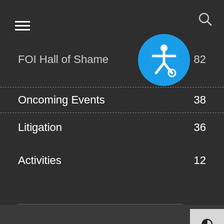Navigation menu with hamburger icon and search icon
FOI Hall of Shame  82
Oncoming Events  38
Litigation  36
Activities  12
[Figure (logo): Blue circular accessibility icon with wheelchair user symbol in white]
[Figure (logo): Media Rights Agenda logo: white dove with blue rectangle, red cursive text reading Media Rights Agenda]
ABOUT US